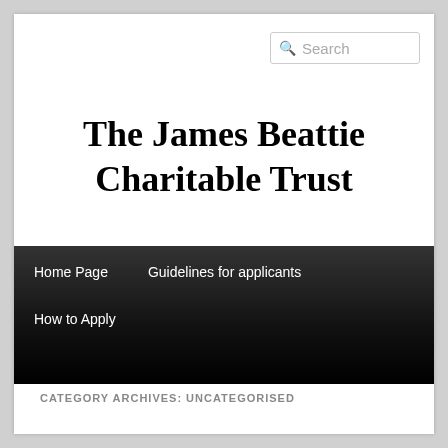[Figure (screenshot): Search box with magnifying glass icon and placeholder text 'Search']
The James Beattie Charitable Trust
Home Page   Guidelines for applicants   How to Apply
CATEGORY ARCHIVES: UNCATEGORISED